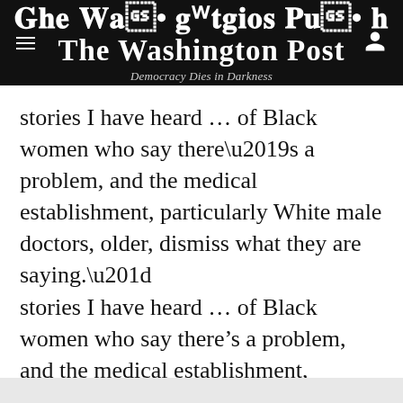The Washington Post — Democracy Dies in Darkness
stories I have heard … of Black women who say there’s a problem, and the medical establishment, particularly White male doctors, older, dismiss what they are saying.”
Story continues below advertisement
[Figure (other): Advertisement placeholder box (gray rectangle)]